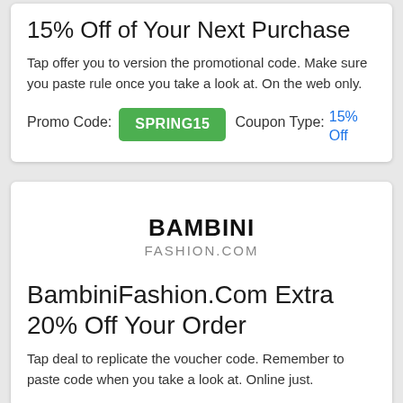15% Off of Your Next Purchase
Tap offer you to version the promotional code. Make sure you paste rule once you take a look at. On the web only.
Promo Code: SPRING15   Coupon Type: 15% Off
[Figure (logo): BambiniFashion.com logo — BAMBINI in bold black, FASHION.COM in gray below]
BambiniFashion.Com Extra 20% Off Your Order
Tap deal to replicate the voucher code. Remember to paste code when you take a look at. Online just.